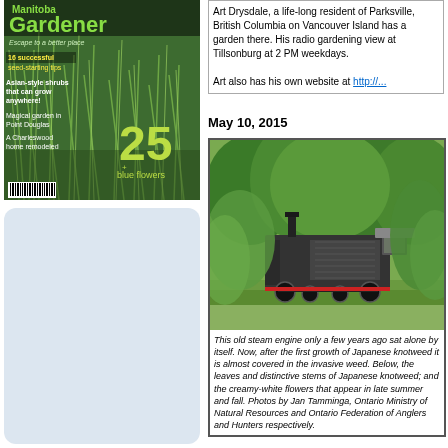[Figure (photo): Magazine cover of Manitoba Gardener showing ornamental grasses, text: 16 successful seed-starting tips, Asian-style shrubs that can grow anywhere!, Magical garden in Point Douglas, A Charleswood home remodeled, 25+ blue flowers]
Art Drysdale, a life-long resident of Parksville, British Columbia on Vancouver Island has a garden there. His radio gardening view at Tillsonburg at 2 PM weekdays.

Art also has his own website at http://...
May 10, 2015
[Figure (photo): Old steam engine locomotive surrounded by Japanese knotweed invasive plant growth]
This old steam engine only a few years ago sat alone by itself. Now, after the first growth of Japanese knotweed it is almost covered in the invasive weed. Below, the leaves and distinctive stems of Japanese knotweed; and the creamy-white flowers that appear in late summer and fall. Photos by Jan Tamminga, Ontario Ministry of Natural Resources and Ontario Federation of Anglers and Hunters respectively.